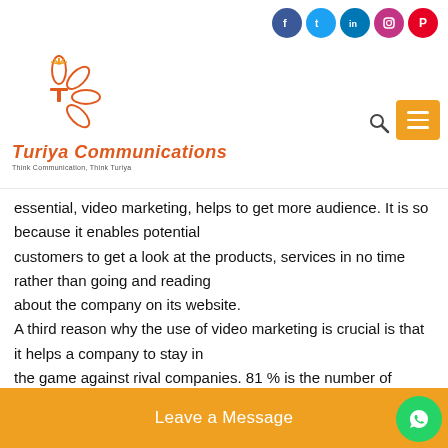Turiya Communications — Think Communication, Think Turiya
essential, video marketing, helps to get more audience. It is so because it enables potential customers to get a look at the products, services in no time rather than going and reading about the company on its website. A third reason why the use of video marketing is crucial is that it helps a company to stay in the game against rival companies. 81 % is the number of businesses that use video for marketing as of now. It is a great way to get through to the audience easily as it is practical, short, crisps, unique, and catches the eye of a potential audience straightforward